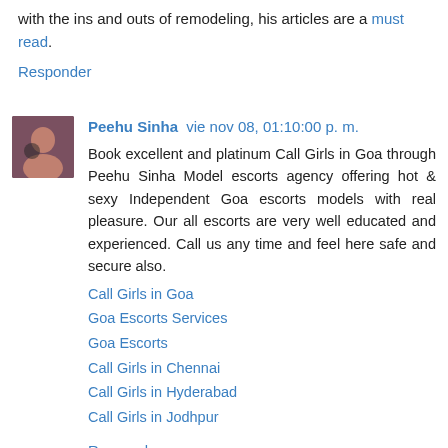with the ins and outs of remodeling, his articles are a must read.
Responder
Peehu Sinha  vie nov 08, 01:10:00 p. m.
Book excellent and platinum Call Girls in Goa through Peehu Sinha Model escorts agency offering hot & sexy Independent Goa escorts models with real pleasure. Our all escorts are very well educated and experienced. Call us any time and feel here safe and secure also.
Call Girls in Goa
Goa Escorts Services
Goa Escorts
Call Girls in Chennai
Call Girls in Hyderabad
Call Girls in Jodhpur
Responder
Bhiwadi Escorts Service  lun nov 11, 07:06:00 a. m.